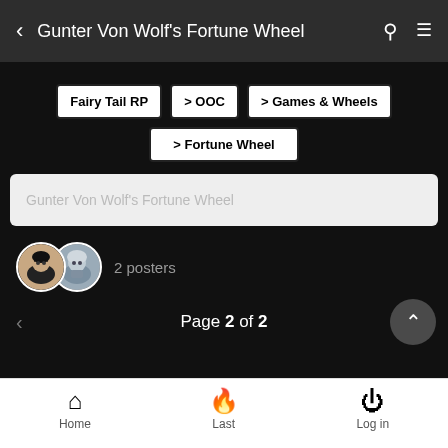Gunter Von Wolf's Fortune Wheel
Fairy Tail RP
> OOC
> Games & Wheels
> Fortune Wheel
Gunter Von Wolf's Fortune Wheel
[Figure (illustration): Two circular avatar icons showing anime-style characters: a dark-haired character and a silver/armored character]
2 posters
Page 2 of 2
Home   Last   Log in